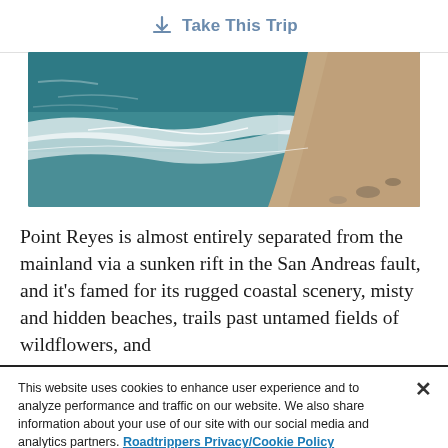Take This Trip
[Figure (photo): Aerial view of ocean waves meeting a sandy beach shoreline, with teal water and white foam]
Point Reyes is almost entirely separated from the mainland via a sunken rift in the San Andreas fault, and it's famed for its rugged coastal scenery, misty and hidden beaches, trails past untamed fields of wildflowers, and
This website uses cookies to enhance user experience and to analyze performance and traffic on our website. We also share information about your use of our site with our social media and analytics partners. Roadtrippers Privacy/Cookie Policy
Cookie Preferences
Accept Cookies